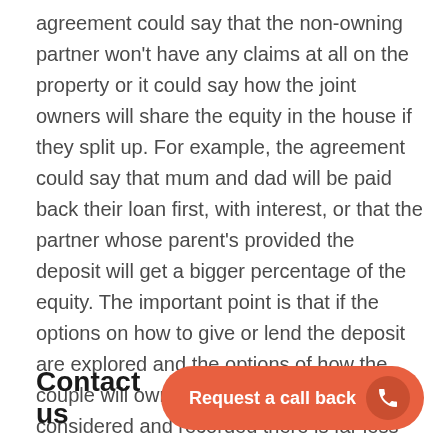agreement could say that the non-owning partner won't have any claims at all on the property or it could say how the joint owners will share the equity in the house if they split up. For example, the agreement could say that mum and dad will be paid back their loan first, with interest, or that the partner whose parent's provided the deposit will get a bigger percentage of the equity. The important point is that if the options on how to give or lend the deposit are explored and the options of how the couple will own a house are carefully considered and recorded there is far less chance of the family falling out with their son or daughter or their in-laws.
Contact us
[Figure (other): Orange rounded button with text 'Request a call back' and a phone icon in a darker orange circle on the right]